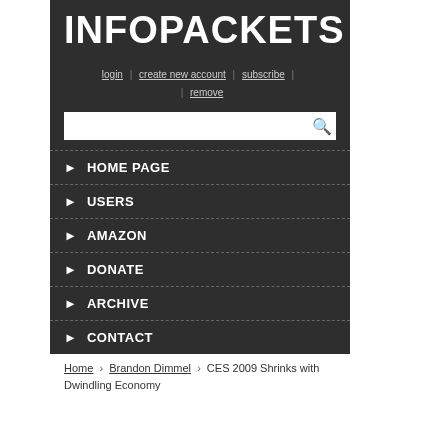INFOPACKETS
login | create new account | subscribe | remove
[Figure (other): Search input box with magnifying glass icon]
HOME PAGE
USERS
AMAZON
DONATE
ARCHIVE
CONTACT
Home › Brandon Dimmel › CES 2009 Shrinks with Dwindling Economy